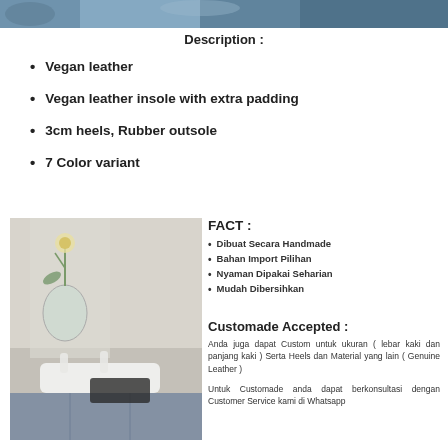[Figure (photo): Top decorative photo strip showing shoes/flowers in blue-toned background]
Description :
Vegan leather
Vegan leather insole with extra padding
3cm heels, Rubber outsole
7 Color variant
[Figure (photo): Photo of white sandals/slippers with flower vase and jeans in background]
FACT :
Dibuat Secara Handmade
Bahan Import Pilihan
Nyaman Dipakai Seharian
Mudah Dibersihkan
Customade Accepted :
Anda juga dapat Custom untuk ukuran ( lebar kaki dan panjang kaki ) Serta Heels dan Material yang lain ( Genuine Leather )
Untuk Customade anda dapat berkonsultasi dengan Customer Service kami di Whatsapp